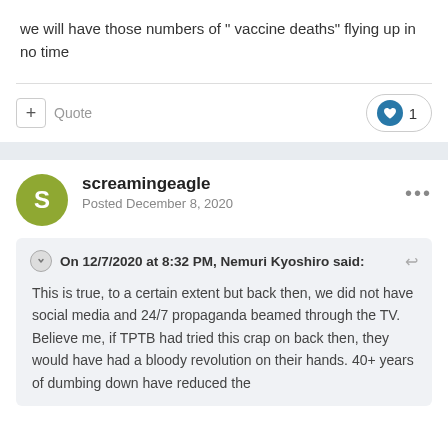we will have those numbers of " vaccine deaths" flying up in no time
screamingeagle
Posted December 8, 2020
On 12/7/2020 at 8:32 PM, Nemuri Kyoshiro said:
This is true, to a certain extent but back then, we did not have social media and 24/7 propaganda beamed through the TV. Believe me, if TPTB had tried this crap on back then, they would have had a bloody revolution on their hands. 40+ years of dumbing down have reduced the